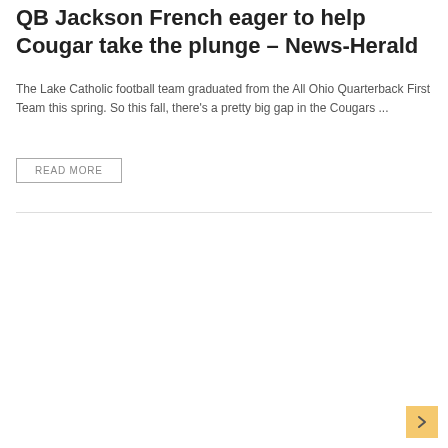QB Jackson French eager to help Cougar take the plunge – News-Herald
The Lake Catholic football team graduated from the All Ohio Quarterback First Team this spring. So this fall, there's a pretty big gap in the Cougars ...
READ MORE
FRENCH UNIVERSITY